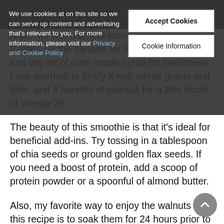We use cookies at on this site so we can serve up content and advertising that's relevant to you. For more information, please visit our Privacy and Cookie Policy
Accept Cookies
Cookie Information
find… for this oatmeal smoothie bread recipe. It relies on the banana for its naturally sweet and tiny bit of pure maple syrup for sweetness. I use oatmeal to fortify it with whole grains and fiber, and a handful of walnuts for a little boost of omega-3s.
The beauty of this smoothie is that it's ideal for beneficial add-ins. Try tossing in a tablespoon of chia seeds or ground golden flax seeds. If you need a boost of protein, add a scoop of protein powder or a spoonful of almond butter.
Also, my favorite way to enjoy the walnuts in this recipe is to soak them for 24 hours prior to mixing them in. The soaking softens them and takes away the tannic acid that makes them bitter, making them perfect for